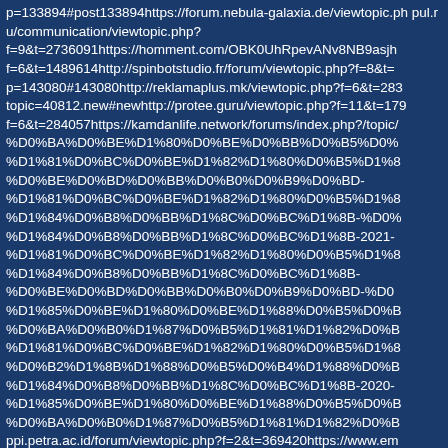p=133894#post133894https://forum.nebula-galaxia.de/viewtopic.ph pul.ru/communication/viewtopic.php? f=9&t=2736091https://homment.com/OBK0UhRpevANv8NB9asjh f=6&t=1489614http://spinbotstudio.fr/forum/viewtopic.php?f=8&t= p=143080#143080http://reklamaplus.mk/viewtopic.php?f=6&t=283 topic=40812.new#newhttp://protee.guru/viewtopic.php?f=11&t=179 f=6&t=284057https://kamdanlife.network/forums/index.php?/topic/ %D0%BA%D0%BE%D1%80%D0%BE%D0%BB%D0%B5%D0% %D1%81%D0%BC%D0%BE%D1%82%D1%80%D0%B5%D1%8 %D0%BE%D0%BD%D0%BB%D0%B0%D0%B9%D0%BD- %D1%81%D0%BC%D0%BE%D1%82%D1%80%D0%B5%D1%8 %D1%84%D0%B8%D0%BB%D1%8C%D0%BC%D1%8B-%D0% %D1%84%D0%B8%D0%BB%D1%8C%D0%BC%D1%8B-2021- %D1%81%D0%BC%D0%BE%D1%82%D1%80%D0%B5%D1%8 %D1%84%D0%B8%D0%BB%D1%8C%D0%BC%D1%8B- %D0%BE%D0%BD%D0%BB%D0%B0%D0%B9%D0%BD-%D0 %D1%85%D0%BE%D1%80%D0%BE%D1%88%D0%B5%D0%B %D0%BA%D0%B0%D1%87%D0%B5%D1%81%D1%82%D0%B %D1%81%D0%BC%D0%BE%D1%82%D1%80%D0%B5%D1%8 %D0%B2%D1%8B%D1%88%D0%B5%D0%B4%D1%88%D0%B %D1%84%D0%B8%D0%BB%D1%8C%D0%BC%D1%8B-2020- %D1%85%D0%BE%D1%80%D0%BE%D1%88%D0%B5%D0%B %D0%BA%D0%B0%D1%87%D0%B5%D1%81%D1%82%D0%B ppi.petra.ac.id/forum/viewtopic.php?f=2&t=369420https://www.em f=3&t=577318http://lucentflame.com/chocodisco/viewtopic.php?